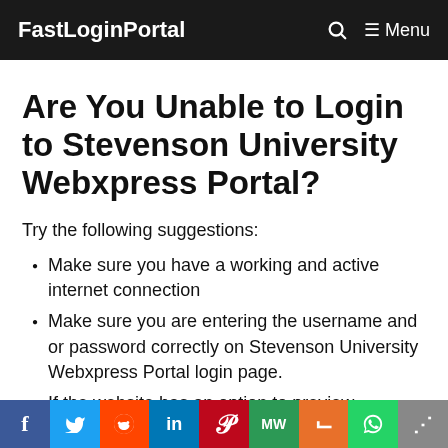FastLoginPortal   🔍   ≡ Menu
Are You Unable to Login to Stevenson University Webxpress Portal?
Try the following suggestions:
Make sure you have a working and active internet connection
Make sure you are entering the username and or password correctly on Stevenson University Webxpress Portal login page.
If the website has an option to preview